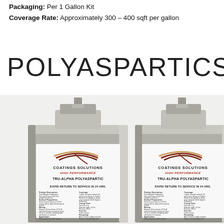Packaging: Per 1 Gallon Kit
Coverage Rate: Approximately 300 – 400 sqft per gallon
POLYASPARTICS
[Figure (photo): Two metal gallon cans of Coatings Solutions High Performance TRU-ALPHA POLYASPARTIC product with product labels. Labels show 'RAPID RETURN TO SERVICE IN 24 HRS.' with product description text including Surface Preparation, Mixing, Application, Coverage, Curing Time, Pot Life, and Recoating instructions.]